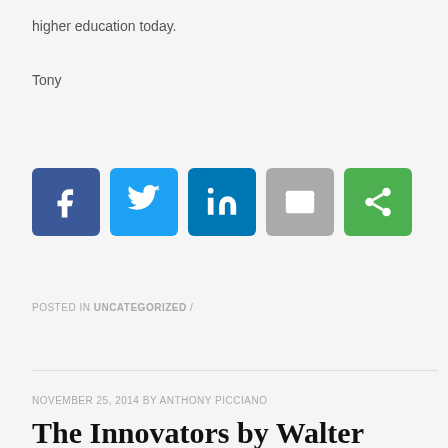higher education today.
Tony
[Figure (other): Social sharing icons: Facebook, Twitter, LinkedIn, Email, Share]
POSTED IN UNCATEGORIZED /
NOVEMBER 25, 2014 BY ANTHONY PICCIANO
The Innovators by Walter